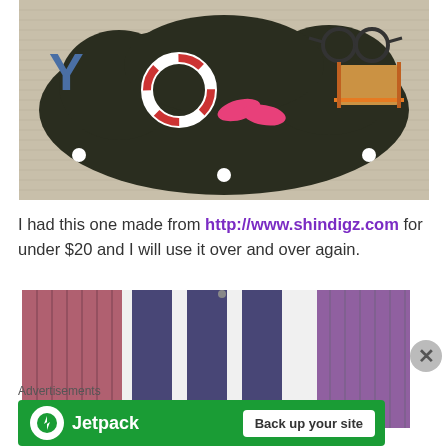[Figure (photo): Dark foam/felt board shaped like a cloud or decorative shape, placed on a beige woven mat. On the board are beach-themed items: flip flops, a life ring, sunglasses, a beach chair, and a letter Y.]
I had this one made from http://www.shindigz.com for under $20 and I will use it over and over again.
[Figure (photo): A white and dark navy/purple striped banner/flag hanging on a pink/maroon wooden shutter or door. The banner reads 'Mickey & Davilyn' in red script lettering at the bottom.]
Advertisements
[Figure (screenshot): Jetpack advertisement banner with green background. Shows Jetpack logo (white circle with lightning bolt) and text 'Jetpack' in white, with a white button 'Back up your site'.]